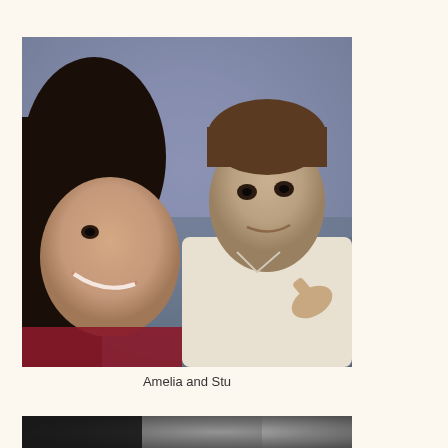[Figure (photo): Two people at what appears to be a social event: a woman with dark hair and bangs smiling on the left, and a man in a white shirt making a pointing gesture toward his chin in the center. A third person, a blonde woman, is visible in the background on the right.]
Amelia and Stu
[Figure (photo): Partial view of a second photo at the bottom of the page, mostly dark/blurred content.]